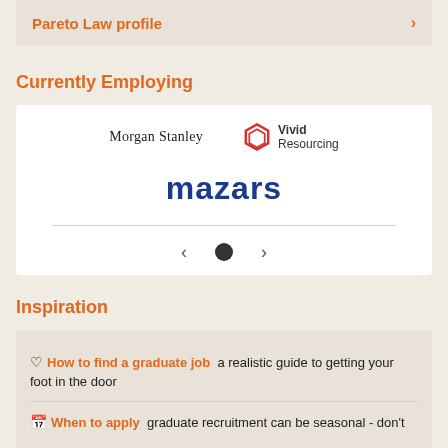Pareto Law profile ›
Currently Employing
[Figure (logo): Logos of Morgan Stanley, Vivid Resourcing, and Mazars displayed in a carousel employer card with navigation controls]
Inspiration
♡ How to find a graduate job  a realistic guide to getting your foot in the door
📅 When to apply  graduate recruitment can be seasonal - don't